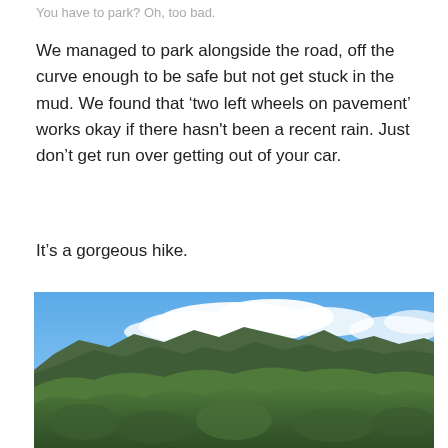You have to park? Oh, too bad.
We managed to park alongside the road, off the curve enough to be safe but not get stuck in the mud. We found that ‘two left wheels on pavement’ works okay if there hasn't been a recent rain. Just don’t get run over getting out of your car.
It’s a gorgeous hike.
[Figure (photo): Panoramic landscape photo of a lush green tropical mountain range with dense foliage in the foreground, rugged peaks in the middle distance, and a bright blue sky with large white clouds above.]